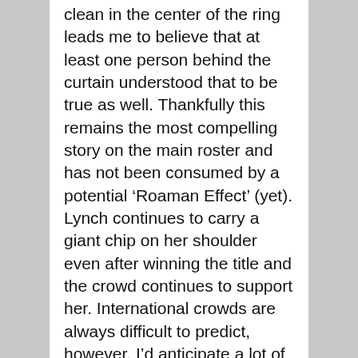clean in the center of the ring leads me to believe that at least one person behind the curtain understood that to be true as well. Thankfully this remains the most compelling story on the main roster and has not been consumed by a potential ‘Roaman Effect’ (yet). Lynch continues to carry a giant chip on her shoulder even after winning the title and the crowd continues to support her. International crowds are always difficult to predict, however, I’d anticipate a lot of love for both performers, which would make for a fantastic atmosphere and actually add a